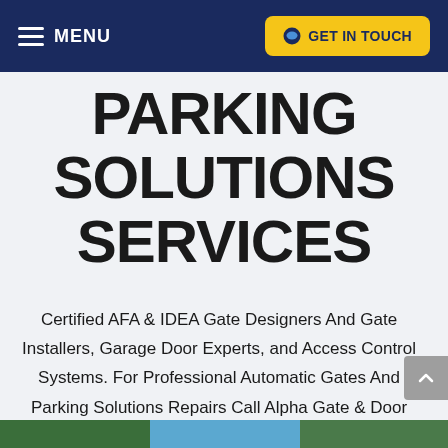MENU | GET IN TOUCH
PARKING SOLUTIONS SERVICES
Certified AFA & IDEA Gate Designers And Gate Installers, Garage Door Experts, and Access Control Systems. For Professional Automatic Gates And Parking Solutions Repairs Call Alpha Gate & Door Co. Today.